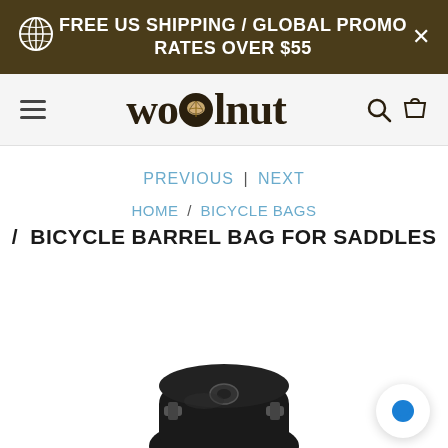FREE US SHIPPING / GLOBAL PROMO RATES OVER $55
[Figure (logo): Walnut store logo with walnut icon between 'w' and 'lnut']
PREVIOUS | NEXT
HOME / BICYCLE BAGS / BICYCLE BARREL BAG FOR SADDLES
[Figure (photo): Partial photo of a black bicycle barrel bag for saddles, showing straps and buckles at the bottom of the page]